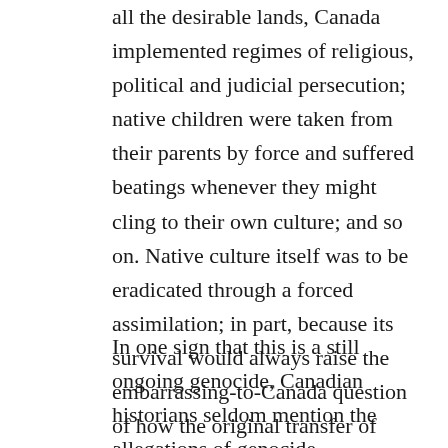all the desirable lands, Canada implemented regimes of religious, political and judicial persecution; native children were taken from their parents by force and suffered beatings whenever they might cling to their own culture; and so on. Native culture itself was to be eradicated through a forced assimilation; in part, because its survival would always raise the embarrassing-to-Canada question of how the original transfer of sovereign power took place.
In one sign that this is a still ongoing genocide, Canadian historians seldom mention the allegations of genocide “universally” held in diverse native communities. Nor do they